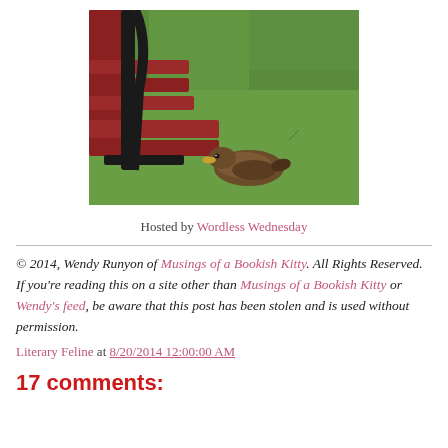[Figure (photo): A red park bench with black metal frame, with a duck resting on green grass beneath/beside it.]
Hosted by Wordless Wednesday
© 2014, Wendy Runyon of Musings of a Bookish Kitty. All Rights Reserved. If you're reading this on a site other than Musings of a Bookish Kitty or Wendy's feed, be aware that this post has been stolen and is used without permission.
Literary Feline at 8/20/2014 12:00:00 AM
17 comments: